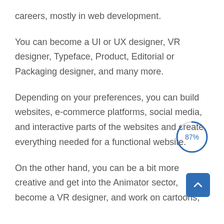careers, mostly in web development.
You can become a UI or UX designer, VR designer, Typeface, Product, Editorial or Packaging designer, and many more.
Depending on your preferences, you can build websites, e-commerce platforms, social media, and interactive parts of the websites and create everything needed for a functional website.
[Figure (donut-chart): Circular progress indicator showing 87%]
On the other hand, you can be a bit more creative and get into the Animator sector, become a VR designer, and work on cartoons,